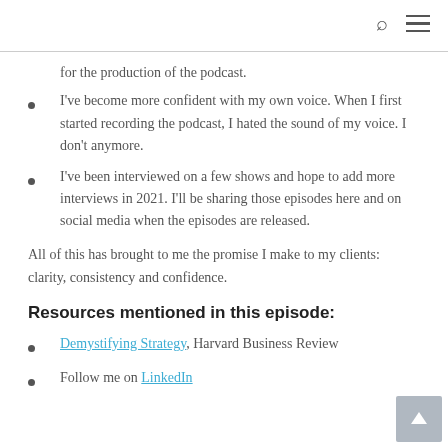[search icon] [menu icon]
for the production of the podcast.
I've become more confident with my own voice. When I first started recording the podcast, I hated the sound of my voice. I don't anymore.
I've been interviewed on a few shows and hope to add more interviews in 2021. I'll be sharing those episodes here and on social media when the episodes are released.
All of this has brought to me the promise I make to my clients: clarity, consistency and confidence.
Resources mentioned in this episode:
Demystifying Strategy, Harvard Business Review
Follow me on LinkedIn